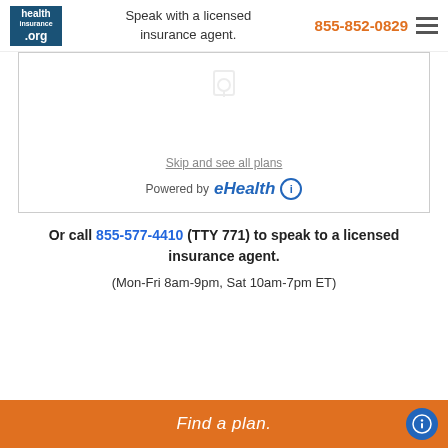Speak with a licensed insurance agent. 855-852-0829
[Figure (screenshot): eHealth insurance plan widget with a loading/placeholder icon, a 'Skip and see all plans' link, and 'Powered by eHealth' branding with info icon]
Or call 855-577-4410 (TTY 771) to speak to a licensed insurance agent.
(Mon-Fri 8am-9pm, Sat 10am-7pm ET)
Find a plan.